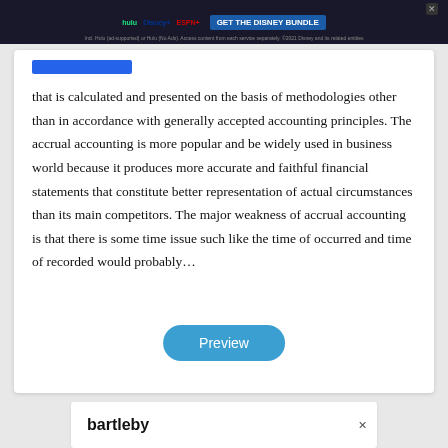[Figure (screenshot): Top advertisement banner for Disney Bundle (Hulu, Disney+, ESPN+)]
that is calculated and presented on the basis of methodologies other than in accordance with generally accepted accounting principles. The accrual accounting is more popular and be widely used in business world because it produces more accurate and faithful financial statements that constitute better representation of actual circumstances than its main competitors. The major weakness of accrual accounting is that there is some time issue such like the time of occurred and time of recorded would probably…
[Figure (screenshot): Blue 'Preview' button]
[Figure (screenshot): Bartleby advertisement banner at bottom]